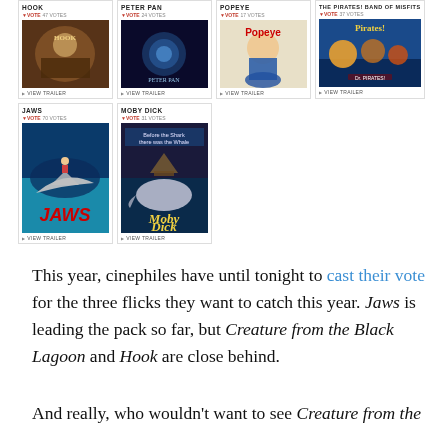[Figure (screenshot): A movie voting grid showing 6 film posters in two rows. Row 1: Hook (47 votes), Peter Pan (24 votes), Popeye (17 votes), The Pirates! Band of Misfits (37 votes). Row 2: Jaws (70 votes), Moby Dick (31 votes). Each card shows title, vote count, a movie poster image, and a VIEW TRAILER link.]
This year, cinephiles have until tonight to cast their vote for the three flicks they want to catch this year. Jaws is leading the pack so far, but Creature from the Black Lagoon and Hook are close behind.
And really, who wouldn't want to see Creature from the